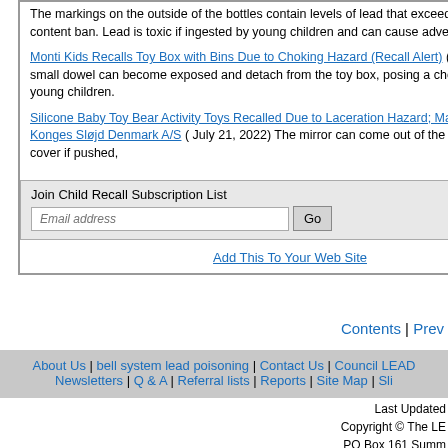The markings on the outside of the bottles contain levels of lead that exceeds the federal lead content ban. Lead is toxic if ingested by young children and can cause adverse health issues.
Monti Kids Recalls Toy Box with Bins Due to Choking Hazard (Recall Alert) ( July 21, 2022) A small dowel can become exposed and detach from the toy box, posing a choking hazard to young children.
Silicone Baby Toy Bear Activity Toys Recalled Due to Laceration Hazard; Manufactured by Konges Sløjd Denmark A/S ( July 21, 2022) The mirror can come out of the silicone bear cover if pushed,
Join Child Recall Subscription List
Add This To Your Web Site
Contents | Prev
About Us | bell system lead poisoning | Contact Us | Council LEAD | Newsletters | Q & A | Referral lists | Reports | Site Map | Sli
Last Updated
Copyright © The LE
PO Box 161 Summ
Phone: +